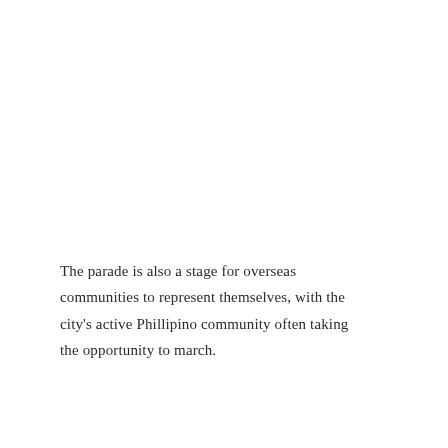The parade is also a stage for overseas communities to represent themselves, with the city's active Phillipino community often taking the opportunity to march.